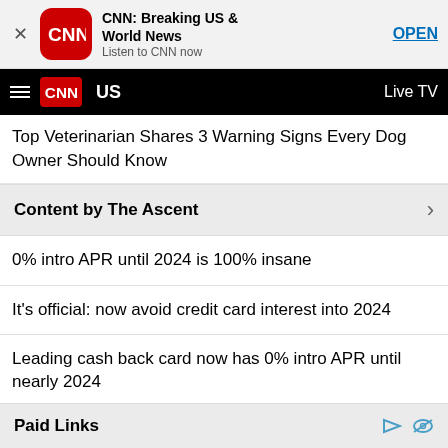[Figure (screenshot): CNN app banner with close button, CNN red icon, app name 'CNN: Breaking US & World News', subtitle 'Listen to CNN now', and OPEN button]
CNN | US | Live TV
Top Veterinarian Shares 3 Warning Signs Every Dog Owner Should Know
Content by The Ascent
0% intro APR until 2024 is 100% insane
It's official: now avoid credit card interest into 2024
Leading cash back card now has 0% intro APR until nearly 2024
Experts: this is the best cash back card of 2022
A slam dunk if you need a balance transfer (21 months)
Paid Links